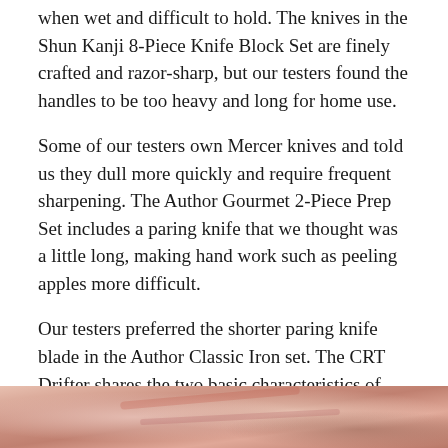when wet and difficult to hold. The knives in the Shun Kanji 8-Piece Knife Block Set are finely crafted and razor-sharp, but our testers found the handles to be too heavy and long for home use.
Some of our testers own Mercer knives and told us they dull more quickly and require frequent sharpening. The Author Gourmet 2-Piece Prep Set includes a paring knife that we thought was a little long, making hand work such as peeling apples more difficult.
Our testers preferred the shorter paring knife blade in the Author Classic Iron set. The CRT Drifter shares the two basic characteristics of most of the knives we tested: The blade is about 3 inches long, and you can open and close it with one hand.
[Figure (photo): Partial image at bottom of page showing what appears to be knives or kitchen items with warm red/pink tones, cropped at page edge.]